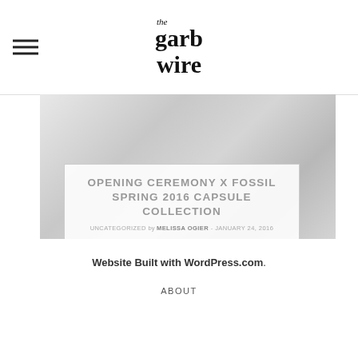the garb wire
[Figure (photo): Top portion of a hero image showing accessories/watches on a light gray background, partially visible]
OPENING CEREMONY X FOSSIL SPRING 2016 CAPSULE COLLECTION
UNCATEGORIZED by MELISSA OGIER - JANUARY 24, 2016
Website Built with WordPress.com.
ABOUT